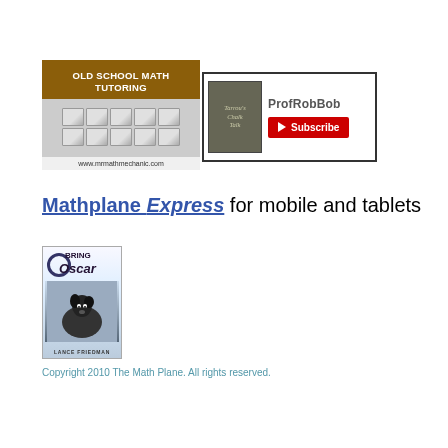[Figure (logo): Old School Math Tutoring banner with brown header text and gray block grid, URL www.mrmathmechanic.com at bottom]
[Figure (logo): ProfRobBob YouTube channel banner with Tarrou's Chalk Talk thumbnail and red Subscribe button]
Mathplane Express for mobile and tablets
[Figure (photo): Book cover: Bring Oscar by Lance Friedman, showing a dog photo]
Copyright 2010 The Math Plane. All rights reserved.